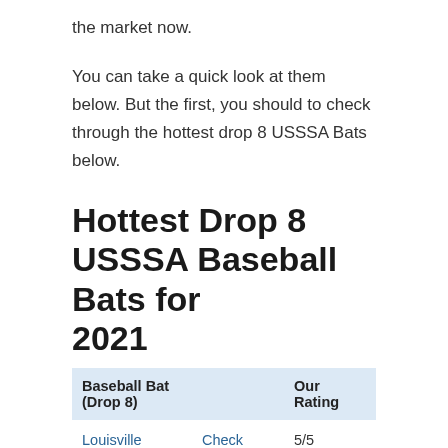the market now.
You can take a quick look at them below. But the first, you should to check through the hottest drop 8 USSSA Bats below.
Hottest Drop 8 USSSA Baseball Bats for 2021
| Baseball Bat (Drop 8) |  | Our Rating |
| --- | --- | --- |
| Louisville Slugger 2020 Prime 2 3/4" Senior League | Check Price | 5/5 |
| 2021 Anderson Techzilla | Check Price | 5/5 |